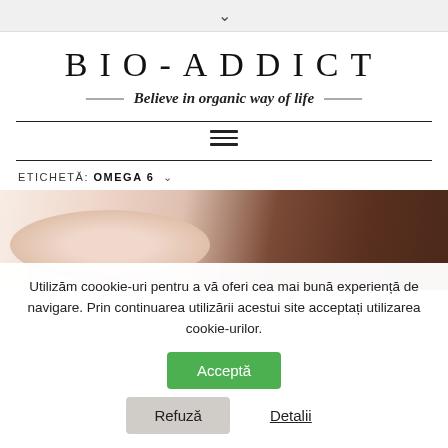▾
BIO-ADDICT
Believe in organic way of life
[Figure (illustration): Hamburger menu icon (three horizontal lines)]
ETICHETĂ: OMEGA 6 ∨
[Figure (photo): Close-up photo of a woman touching her hair, showing skin and dark brown hair]
Utilizăm coookie-uri pentru a vă oferi cea mai bună experiență de navigare. Prin continuarea utilizării acestui site acceptați utilizarea cookie-urilor.
Acceptă
Refuză
Detalii